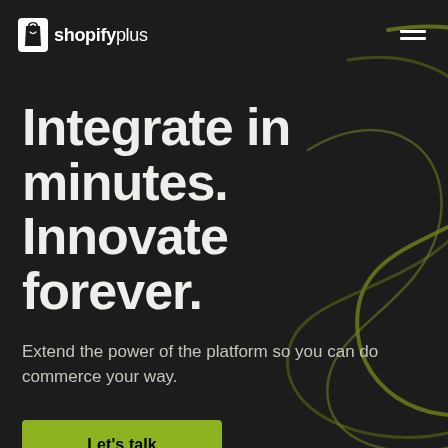shopify plus (logo) | hamburger menu
Integrate in minutes. Innovate forever.
Extend the power of the platform so you can do commerce your way.
Let's talk